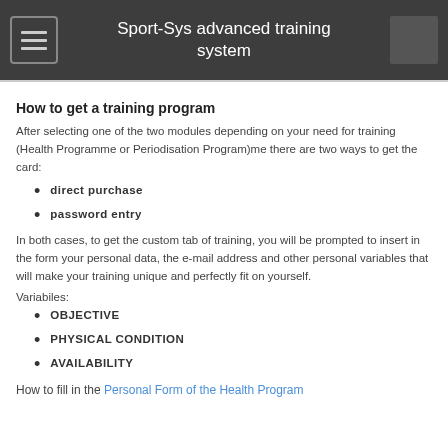Sport-Sys advanced training system
How to get a training program
After selecting one of the two modules depending on your need for training (Health Programme or Periodisation Program)me there are two ways to get the card:
direct purchase
password entry
In both cases, to get the custom tab of training, you will be prompted to insert in the form your personal data, the e-mail address and other personal variables that will make your training unique and perfectly fit on yourself.
Variabiles:
OBJECTIVE
PHYSICAL CONDITION
AVAILABILITY
How to fill in the Personal Form of the Health Program